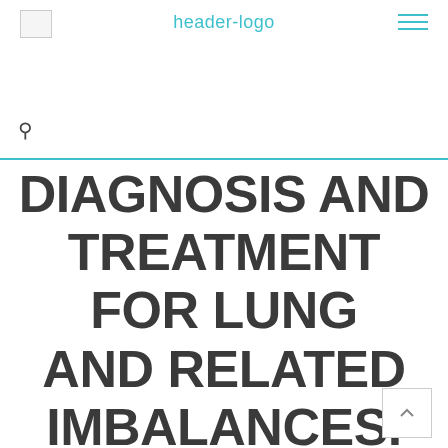header-logo
DIAGNOSIS AND TREATMENT FOR LUNG AND RELATED IMBALANCES. PART TWENTY THREE